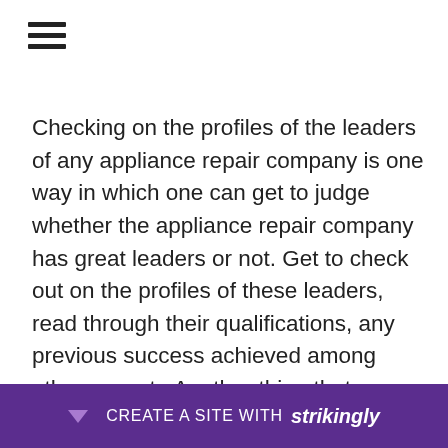[Figure (other): Hamburger menu icon (three horizontal lines)]
Checking on the profiles of the leaders of any appliance repair company is one way in which one can get to judge whether the appliance repair company has great leaders or not. Get to check out on the profiles of these leaders, read through their qualifications, any previous success achieved among other aspects.Another thing that you need to check out is the transparency of a appliance repair company. A good appliance repair company is transparent and charges from
[Figure (other): Strikingly website builder promotional bar at the bottom of the page with purple background reading 'CREATE A SITE WITH strikingly']